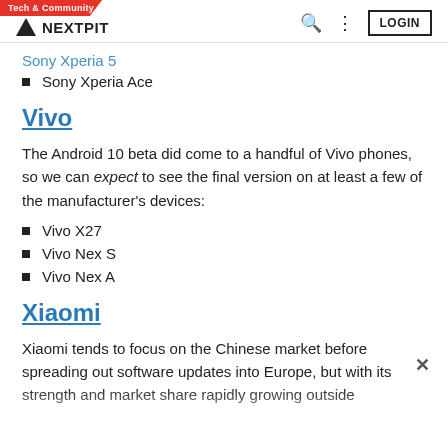Tech & Community | NEXTPIT | LOGIN
Sony Xperia 5
Sony Xperia Ace
Vivo
The Android 10 beta did come to a handful of Vivo phones, so we can expect to see the final version on at least a few of the manufacturer's devices:
Vivo X27
Vivo Nex S
Vivo Nex A
Xiaomi
Xiaomi tends to focus on the Chinese market before spreading out software updates into Europe, but with its strength and market share rapidly growing outside of the Chinese market, there's much improved in this area. You might find it hard to argue, but Xiaomi did first release...